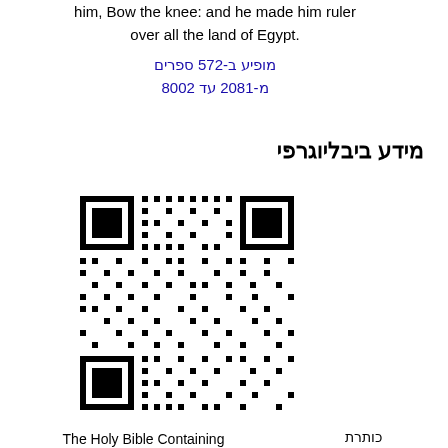him, Bow the knee: and he made him ruler over all the land of Egypt.
מופיע ב-275 ספרים
מ-1802 עד 2008
מידע ביבליוגרפי
[Figure (other): QR code linking to bibliographic information]
| כותרת |  |
| --- | --- |
|  | The Holy Bible Containing the Old and the New Testament |